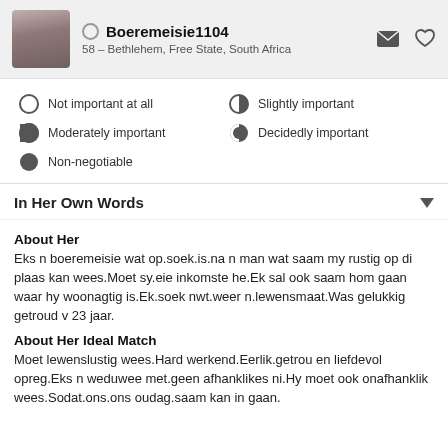Boeremeisie1104 – 58 – Bethlehem, Free State, South Africa
Not important at all
Slightly important
Moderately important
Decidedly important
Non-negotiable
In Her Own Words
About Her
Eks n boeremeisie wat op.soek.is.na n man wat saam my rustig op di plaas kan wees.Moet sy.eie inkomste he.Ek sal ook saam hom gaan waar hy woonagtig is.Ek.soek nwt.weer n.lewensmaat.Was gelukkig getroud v 23 jaar.
About Her Ideal Match
Moet lewenslustig wees.Hard werkend.Eerlik.getrou en liefdevol opreg.Eks n weduwee met.geen afhanklikes ni.Hy moet ook onafhanklik wees.Sodat.ons.ons oudag.saam kan in gaan.